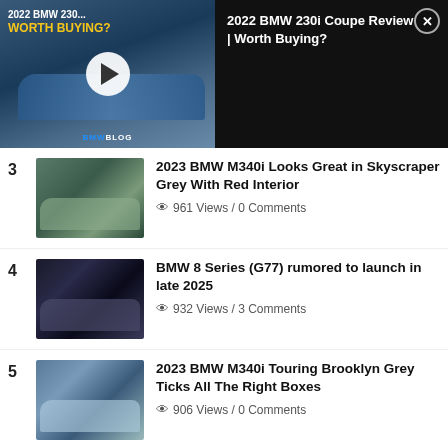[Figure (screenshot): Video player overlay showing a BMW 230i Coupe review thumbnail with play button, title '2022 BMW 230i Coupe Review | Worth Buying?' on black background, with close button]
3 2023 BMW M340i Looks Great in Skyscraper Grey With Red Interior — 961 Views / 0 Comments
4 BMW 8 Series (G77) rumored to launch in late 2025 — 932 Views / 3 Comments
5 2023 BMW M340i Touring Brooklyn Grey Ticks All The Right Boxes — 906 Views / 0 Comments